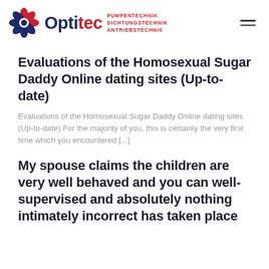Optitec — PUMPENTECHNIK DICHTUNGSTECHNIK ANTRIEBSTECHNIK
Evaluations of the Homosexual Sugar Daddy Online dating sites (Up-to-date)
Evaluations of the Homosexual Sugar Daddy Online dating sites (Up-to-date) For the majority of you, this is certainly the very first time which you encountered [...]
My spouse claims the children are very well behaved and you can well-supervised and absolutely nothing intimately incorrect has taken place